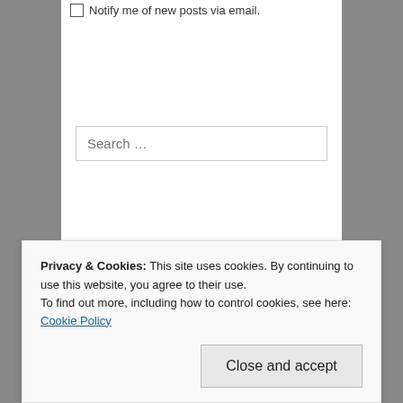Notify me of new posts via email.
Search …
The Mixed Marvel Arts Podcast is in no way associated with, or endorsed by, Marvel Entertainment, LLC.
The Mixed Marvel Arts Twitter!
My Tweets
Privacy & Cookies: This site uses cookies. By continuing to use this website, you agree to their use.
To find out more, including how to control cookies, see here: Cookie Policy
Close and accept